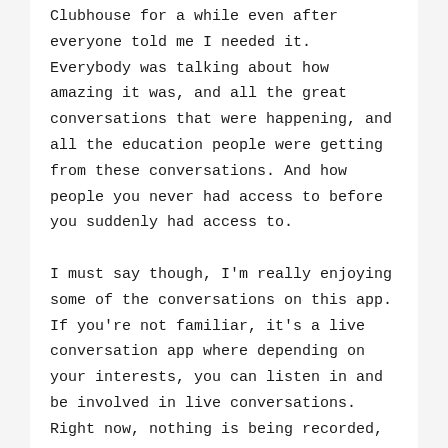Clubhouse for a while even after everyone told me I needed it. Everybody was talking about how amazing it was, and all the great conversations that were happening, and all the education people were getting from these conversations. And how people you never had access to before you suddenly had access to.

I must say though, I'm really enjoying some of the conversations on this app. If you're not familiar, it's a live conversation app where depending on your interests, you can listen in and be involved in live conversations. Right now, nothing is being recorded, so if you miss the conversation, you miss it. It's that simple. But if you set up notifications, you can pop in and just be a fly on the wall and listen in, or you can